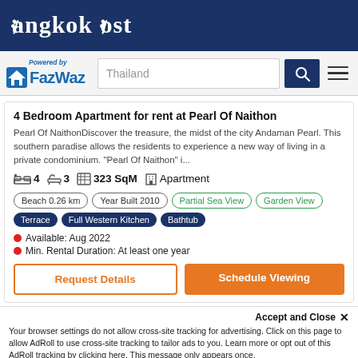Bangkok Post
[Figure (logo): FazWaz logo with house icon and 'Powered by FazWaz' text, search bar with 'Thailand' placeholder, search button, and hamburger menu]
4 Bedroom Apartment for rent at Pearl Of Naithon
Pearl Of NaithonDiscover the treasure, the midst of the city Andaman Pearl. This southern paradise allows the residents to experience a new way of living in a private condominium. "Pearl Of Naithon" i...
4  3  323 SqM  Apartment
Beach 0.26 km | Year Built 2010 | Partial Sea View | Garden View | Terrace | Full Western Kitchen | Bathtub
Available: Aug 2022
Min. Rental Duration: At least one year
Request Details
Schedule Viewing
Accept and Close ✕
Your browser settings do not allow cross-site tracking for advertising. Click on this page to allow AdRoll to use cross-site tracking to tailor ads to you. Learn more or opt out of this AdRoll tracking by clicking here. This message only appears once.